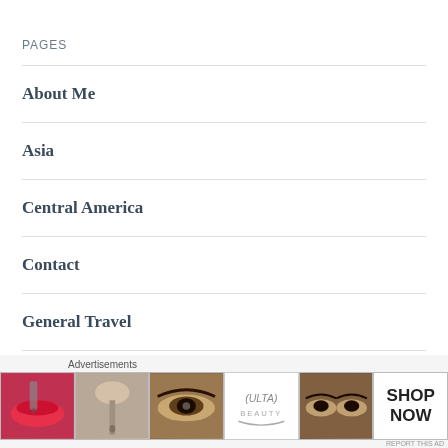PAGES
About Me
Asia
Central America
Contact
General Travel
Group Trips
Home
Advertisements
[Figure (photo): Ulta Beauty advertisement banner showing makeup images: lips with red lipstick, makeup brush, eye with dramatic makeup, Ulta Beauty logo, close-up eyes with dramatic makeup, and SHOP NOW call to action.]